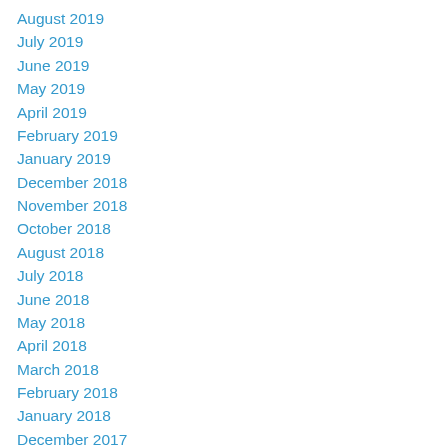August 2019
July 2019
June 2019
May 2019
April 2019
February 2019
January 2019
December 2018
November 2018
October 2018
August 2018
July 2018
June 2018
May 2018
April 2018
March 2018
February 2018
January 2018
December 2017
November 2017